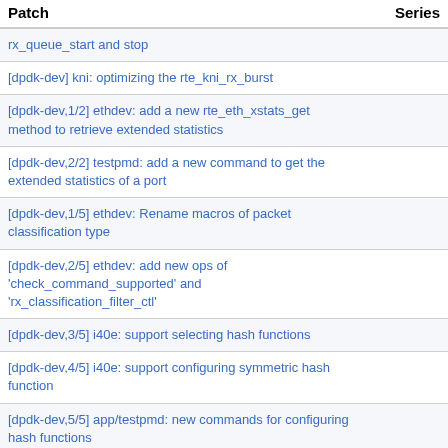| Patch | Series |
| --- | --- |
| rx_queue_start and stop |  |
| [dpdk-dev] kni: optimizing the rte_kni_rx_burst |  |
| [dpdk-dev,1/2] ethdev: add a new rte_eth_xstats_get method to retrieve extended statistics |  |
| [dpdk-dev,2/2] testpmd: add a new command to get the extended statistics of a port |  |
| [dpdk-dev,1/5] ethdev: Rename macros of packet classification type |  |
| [dpdk-dev,2/5] ethdev: add new ops of 'check_command_supported' and 'rx_classification_filter_ctl' |  |
| [dpdk-dev,3/5] i40e: support selecting hash functions |  |
| [dpdk-dev,4/5] i40e: support configuring symmetric hash function |  |
| [dpdk-dev,5/5] app/testpmd: new commands for configuring hash functions |  |
| [dpdk-dev,v2] virtio: Support mergeable buffer in virtio PMD |  |
| [dpdk-dev,v2,1/6] ethdev: rename macros of packet |  |